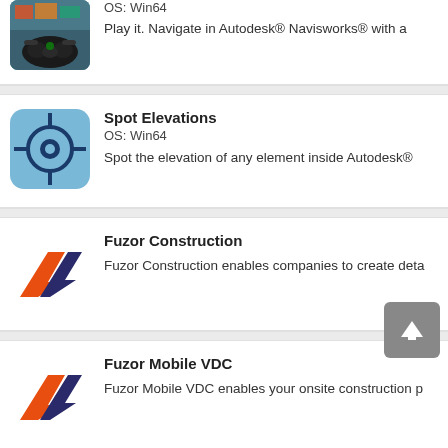[Figure (screenshot): Xbox controller icon on a colorful background, partially cropped at top]
OS: Win64
Play it. Navigate in Autodesk® Navisworks® with a
[Figure (logo): Spot Elevations app icon - blue square with crosshair/target symbol]
Spot Elevations
OS: Win64
Spot the elevation of any element inside Autodesk®
[Figure (logo): Fuzor Construction logo - orange and dark blue stylized chevron/arrow shape]
Fuzor Construction
Fuzor Construction enables companies to create deta
[Figure (logo): Fuzor Mobile VDC logo - same orange and dark blue stylized chevron/arrow shape]
Fuzor Mobile VDC
Fuzor Mobile VDC enables your onsite construction p